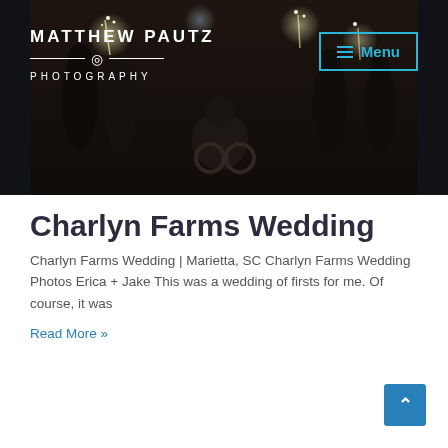[Figure (photo): Wedding photography hero banner showing a couple at night with sparklers, people celebrating around them, one person in a wheelchair. Dark moody lighting. Matthew Pautz Photography logo and Menu button overlaid on the image.]
Charlyn Farms Wedding
Charlyn Farms Wedding | Marietta, SC Charlyn Farms Wedding Photos Erica + Jake This was a wedding of firsts for me. Of course, it was
Read More »